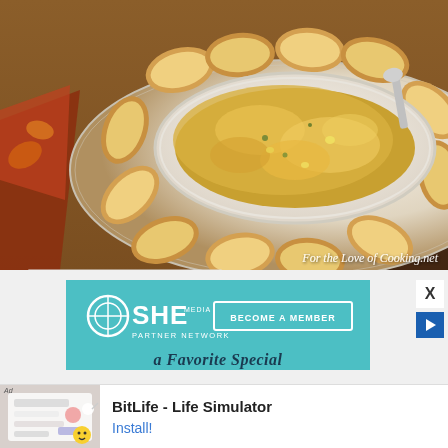[Figure (photo): Food photography showing a white oval baking dish with cheesy artichoke dip on a white plate surrounded by sliced baguette toasts, and a smaller white square plate in front with a piece of bread topped with the dip. Background has an autumn-themed floral napkin on a wood surface. Watermark reads 'For the Love of Cooking.net']
[Figure (screenshot): SHE Media Partner Network advertisement banner with teal background, SHE logo circle, 'BECOME A MEMBER' button in white outline box, and italic text 'a Favorite Special' partially visible at bottom]
[Figure (screenshot): BitLife - Life Simulator mobile app advertisement with game screenshot on left and 'BitLife - Life Simulator' text with 'Install!' button on right]